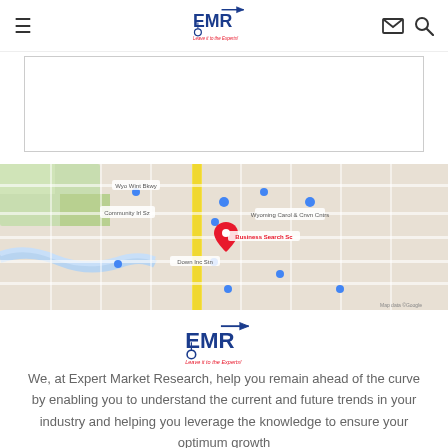EMR - Expert Market Research - Leave it to the Experts!
[Figure (other): White rectangular form/content box with border]
[Figure (map): Google Maps embed showing a city street map with a red location pin marker]
[Figure (logo): EMR Expert Market Research logo - Leave it to the Experts]
We, at Expert Market Research, help you remain ahead of the curve by enabling you to understand the current and future trends in your industry and helping you leverage the knowledge to ensure your optimum growth